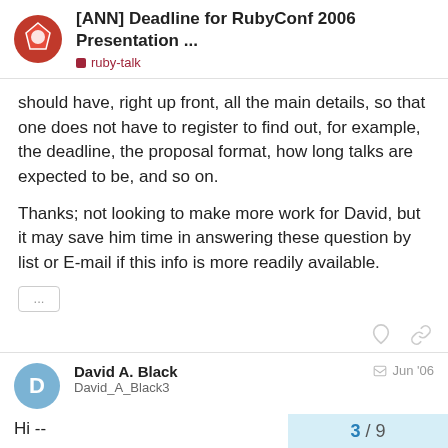[ANN] Deadline for RubyConf 2006 Presentation ... ruby-talk
should have, right up front, all the main details, so that one does not have to register to find out, for example, the deadline, the proposal format, how long talks are expected to be, and so on.
Thanks; not looking to make more work for David, but it may save him time in answering these question by list or E-mail if this info is more readily available.
David A. Black
David_A_Black3
Jun '06
Hi --
3 / 9